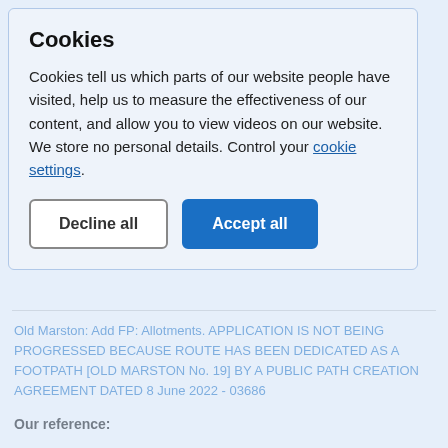TRF - Awbury, Heyford, Kirtlington, Middleton Stoney
Our reference: 02030
Applicant: N Blom
Postcode(s):
OX25 4NF
Parish:
Kirtlington, Lower Heyford, Middleton Stoney
Cookies
Cookies tell us which parts of our website people have visited, help us to measure the effectiveness of our content, and allow you to view videos on our website. We store no personal details. Control your cookie settings.
Old Marston: Add FP: Allotments. APPLICATION IS NOT BEING PROGRESSED BECAUSE ROUTE HAS BEEN DEDICATED AS A FOOTPATH [OLD MARSTON No. 19] BY A PUBLIC PATH CREATION AGREEMENT DATED 8 June 2022 - 03686
Our reference: